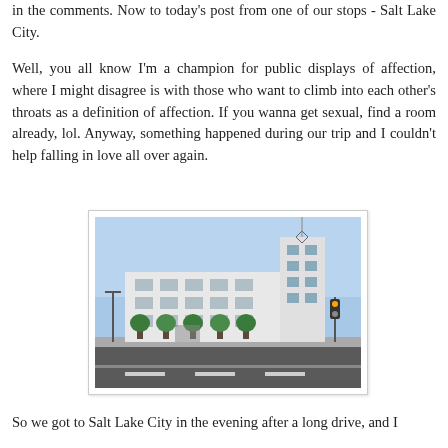in the comments. Now to today's post from one of our stops - Salt Lake City.
Well, you all know I'm a champion for public displays of affection, where I might disagree is with those who want to climb into each other's throats as a definition of affection. If you wanna get sexual, find a room already, lol. Anyway, something happened during our trip and I couldn't help falling in love all over again.
[Figure (photo): Street-level photograph of a white multi-story Art Deco-style building with a tall tower section, trees along the sidewalk, and a road in the foreground. Blue sky in the background.]
So we got to Salt Lake City in the evening after a long drive, and I